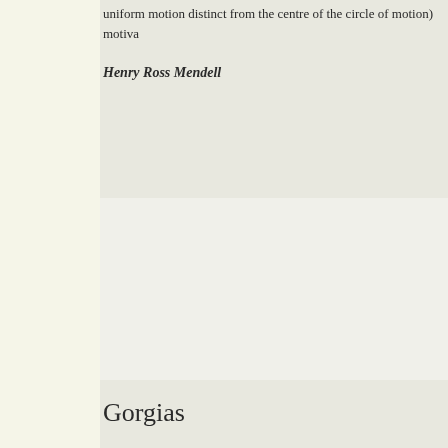uniform motion distinct from the centre of the circle of motion) motiva
Henry Ross Mendell
Gorgias
From Wikipedia, the free encyclopedia
Gorgias (Greek: Γοργίας, ca. 485-c.380 BCE) "the Nihilist", Greek so… Protagoras, he forms the first generation of Sophists. Several doxograp… younger. "Like other Sophists he was an itinerant, practicing in various… Delphi, and charged fees for his instruction and performances. A speci… impromptu replies."
His chief claim to recognition resides in the fact that he transplanted rh… language of literary prose.